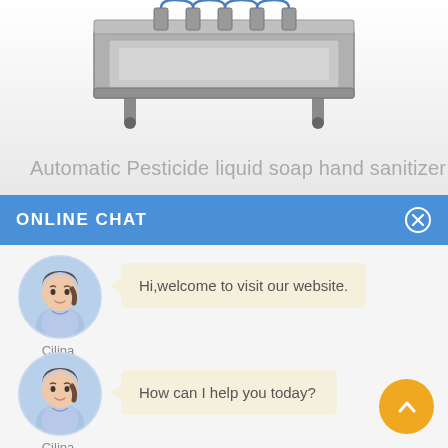[Figure (photo): Industrial machine (automatic filling/capping machine) shown from the front on a white to grey gradient background]
Automatic Pesticide liquid soap hand sanitizer
ONLINE CHAT
[Figure (photo): Avatar photo of a female agent named Cilina wearing a light blue shirt, circular crop with light blue background]
Cilina
Hi,welcome to visit our website.
[Figure (photo): Avatar photo of a female agent named Cilina wearing a light blue shirt, circular crop with light blue background]
Cilina
How can I help you today?